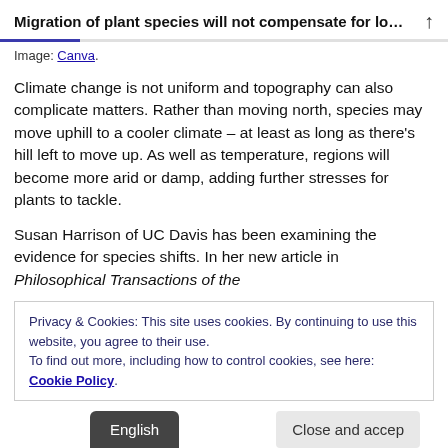Migration of plant species will not compensate for lo…
Image: Canva.
Climate change is not uniform and topography can also complicate matters. Rather than moving north, species may move uphill to a cooler climate – at least as long as there's hill left to move up. As well as temperature, regions will become more arid or damp, adding further stresses for plants to tackle.
Susan Harrison of UC Davis has been examining the evidence for species shifts. In her new article in Philosophical Transactions of the
Privacy & Cookies: This site uses cookies. By continuing to use this website, you agree to their use.
To find out more, including how to control cookies, see here: Cookie Policy